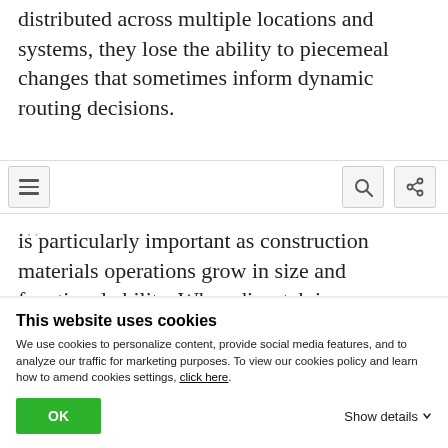distributed across multiple locations and systems, they lose the ability to piecemeal changes that sometimes inform dynamic routing decisions.
is particularly important as construction materials operations grow in size and functional ability. When dispatch is centralized, knowledge transfer takes
[Figure (screenshot): Browser toolbar overlay with hamburger menu button on left, search and share icons on right]
This website uses cookies
We use cookies to personalize content, provide social media features, and to analyze our traffic for marketing purposes. To view our cookies policy and learn how to amend cookies settings, click here.
OK  Show details